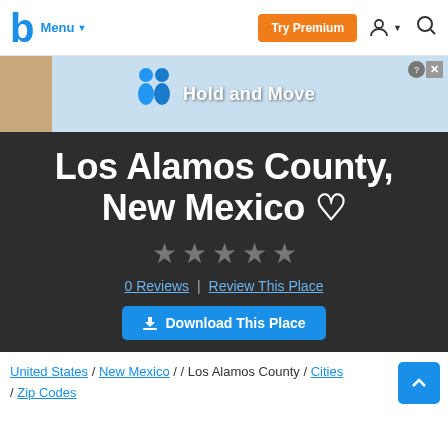Menu | Try Premium | [user icon] | [search icon]
[Figure (screenshot): Advertisement banner with 'Hold and Move' text and illustrated figures on a light blue background]
Los Alamos County, New Mexico ♡
[Figure (other): Five empty/gray star rating icons]
0 Reviews | Review This Place
Download This Place
United States / New Mexico / / Los Alamos County / Cities / Zip Codes